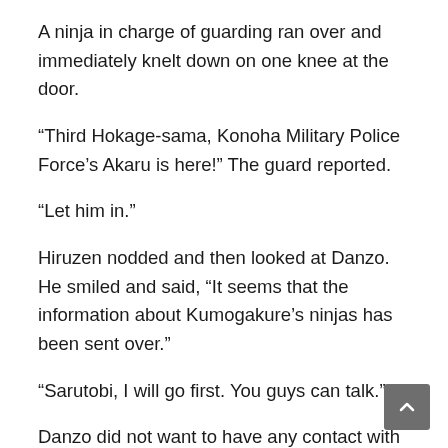A ninja in charge of guarding ran over and immediately knelt down on one knee at the door.
“Third Hokage-sama, Konoha Military Police Force’s Akaru is here!” The guard reported.
“Let him in.”
Hiruzen nodded and then looked at Danzo. He smiled and said, “It seems that the information about Kumogakure’s ninjas has been sent over.”
“Sarutobi, I will go first. You guys can talk.”
Danzo did not want to have any contact with Akaru here now. Compared to what happened last night, he cared more about the whereabouts of Yuta.